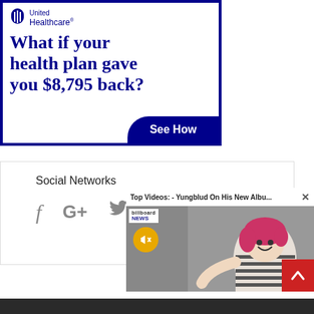[Figure (advertisement): United Healthcare advertisement: 'What if your health plan gave you $8,795 back?' with a 'See How' call-to-action button in dark navy blue]
Social Networks
[Figure (screenshot): Video popup overlay showing 'Top Videos: - Yungblud On His New Albu...' with a close X button, Billboard News badge, mute button icon, and a person with pink/red hair wearing a striped shirt]